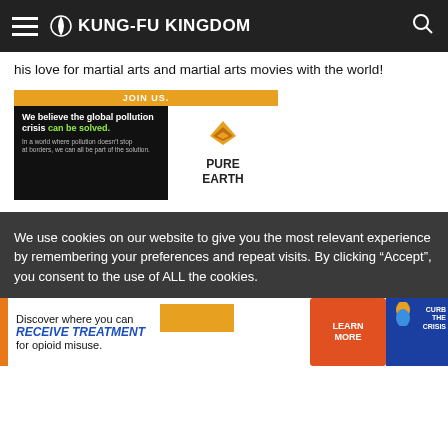KUNG-FU KINGDOM
his love for martial arts and martial arts movies with the world!
[Figure (infographic): Pure Earth advertisement banner: 'We believe the global pollution crisis can be solved.' with JOIN US. button]
We use cookies on our website to give you the most relevant experience by remembering your preferences and repeat visits. By clicking “Accept”, you consent to the use of ALL the cookies.
[Figure (infographic): Advertisement: Discover where you can RECEIVE TREATMENT for opioid misuse. Learn More button. Curb The Crisis overlay.]